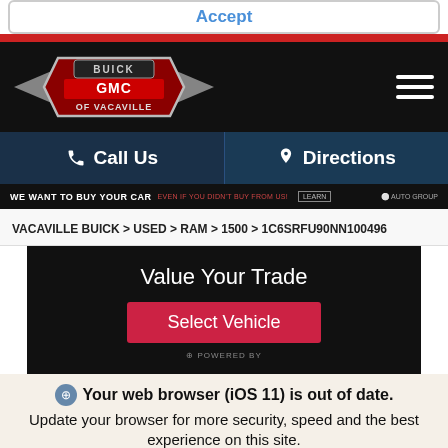Accept
[Figure (logo): Buick GMC of Vacaville logo on black background with hamburger menu icon]
Call Us
Directions
WE WANT TO BUY YOUR CAR  EVEN IF YOU DIDN'T BUY FROM US!
VACAVILLE BUICK > USED > RAM > 1500 > 1C6SRFU90NN100496
Value Your Trade
Select Vehicle
Your web browser (iOS 11) is out of date.
Update your browser for more security, speed and the best experience on this site.
Update browser
Ignore